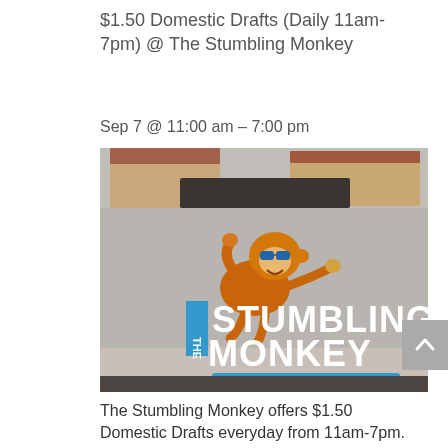$1.50 Domestic Drafts (Daily 11am-7pm) @ The Stumbling Monkey
Tickets
Sep 7 @ 11:00 am – 7:00 pm
[Figure (photo): Photo of The Stumbling Monkey Bar & Grill sign with a cartoon monkey mascot wearing sunglasses, set against a building exterior]
The Stumbling Monkey offers $1.50 Domestic Drafts everyday from 11am-7pm.
Location: 8921 S Yale Tulsa, OK 74133